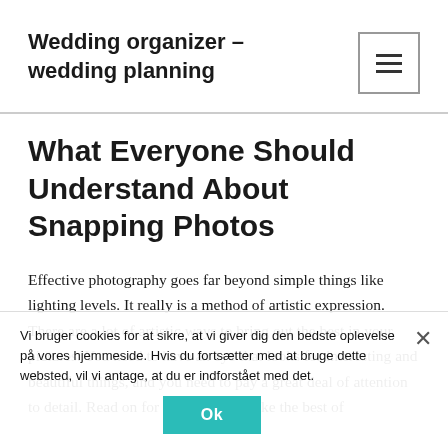Wedding organizer – wedding planning
What Everyone Should Understand About Snapping Photos
Effective photography goes far beyond simple things like lighting levels. It really is a method of artistic expression. There are a lot of artistic ways to bring out the best in your pictures. You need to have an eye that looks for interesting and beautiful things, and you need to pay a great deal of attention to detail. Read on for some tips to make the best of
Vi bruger cookies for at sikre, at vi giver dig den bedste oplevelse på vores hjemmeside. Hvis du fortsætter med at bruge dette websted, vil vi antage, at du er indforstået med det.